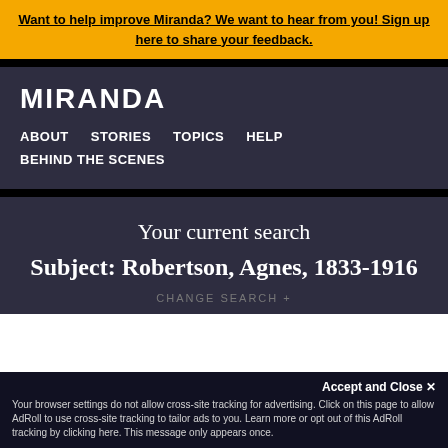Want to help improve Miranda? We want to hear from you! Sign up here to share your feedback.
MIRANDA
ABOUT  STORIES  TOPICS  HELP  BEHIND THE SCENES
Your current search
Subject: Robertson, Agnes, 1833-1916
CHANGE SEARCH +
Accept and Close ✕
Your browser settings do not allow cross-site tracking for advertising. Click on this page to allow AdRoll to use cross-site tracking to tailor ads to you. Learn more or opt out of this AdRoll tracking by clicking here. This message only appears once.
Date range